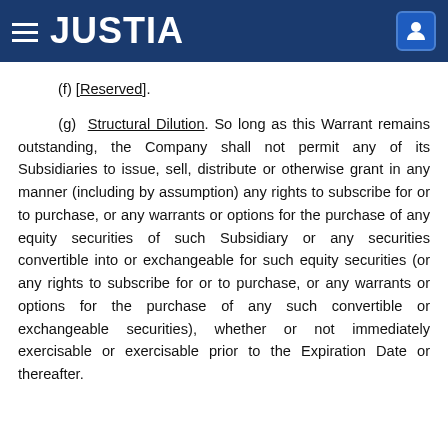JUSTIA
(f) [Reserved].
(g) Structural Dilution. So long as this Warrant remains outstanding, the Company shall not permit any of its Subsidiaries to issue, sell, distribute or otherwise grant in any manner (including by assumption) any rights to subscribe for or to purchase, or any warrants or options for the purchase of any equity securities of such Subsidiary or any securities convertible into or exchangeable for such equity securities (or any rights to subscribe for or to purchase, or any warrants or options for the purchase of any such convertible or exchangeable securities), whether or not immediately exercisable or exercisable prior to the Expiration Date or thereafter.